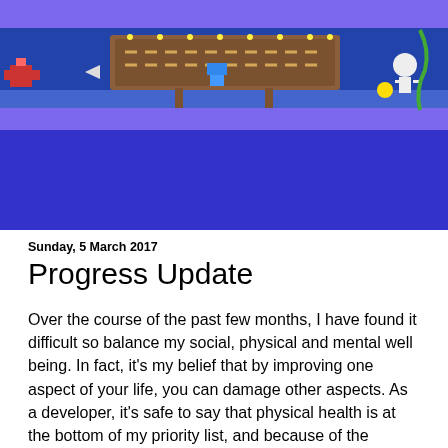[Figure (screenshot): Blog header banner with purple/lavender background and a retro video game screenshot showing a wooden sign/billboard in a side-scrolling game environment with various pixel art characters and elements]
Sunday, 5 March 2017
Progress Update
Over the course of the past few months, I have found it difficult so balance my social, physical and mental well being. In fact, it's my belief that by improving one aspect of your life, you can damage other aspects. As a developer, it's safe to say that physical health is at the bottom of my priority list, and because of the copious amounts of coffee and sugar going into my body on a daily basis, I save valuable time that I can pour into social and mental aspects of my life.
I would argue that these aspects of our lives then branch out into more complex systems. We need financial security, hobbies, dreams, aspirations and more! If you then factor in